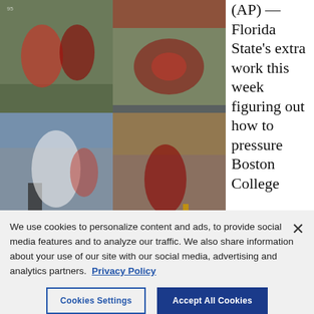[Figure (photo): Top-left: Football game action shot, players in red and white uniforms on field]
[Figure (photo): Top-right: Football game action shot, player being tackled on field]
[Figure (photo): Bottom-left: Football celebration, players and referee on sideline with crowd]
[Figure (photo): Bottom-right: Florida State football player running with ball near end zone]
View All (5)
(AP) — Florida State's extra work this week figuring out how to pressure Boston College
We use cookies to personalize content and ads, to provide social media features and to analyze our traffic. We also share information about your use of our site with our social media, advertising and analytics partners. Privacy Policy
Cookies Settings
Accept All Cookies